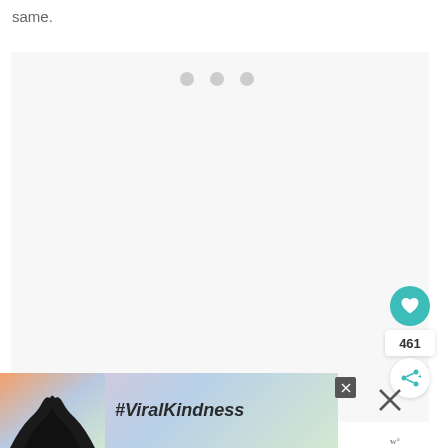same.
[Figure (screenshot): A large light gray content loading placeholder box with three small gray dots near the top center, indicating a loading state. On the right side are a teal heart/like button, a like count showing 461, and a share button.]
[Figure (photo): Advertisement banner at the bottom showing hands making a heart shape silhouette against a sunset sky background, with text #ViralKindness in italic bold dark font. A close button (x) is visible on the right.]